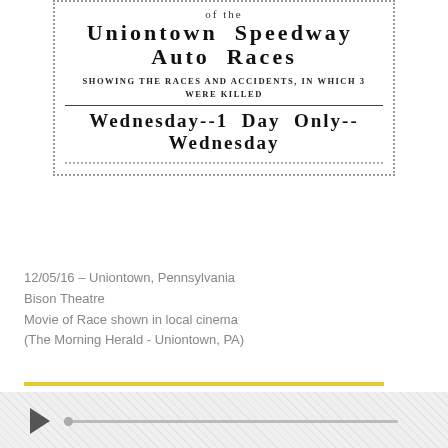[Figure (screenshot): Newspaper clipping advertisement for a movie of the Uniontown Speedway Auto Races, showing partial top text 'of the', then bold title 'Uniontown Speedway Auto Races', subtitle 'SHOWING THE RACES AND ACCIDENTS, IN WHICH 3 WERE KILLED', and bold line 'Wednesday--1 Day Only--Wednesday'. All surrounded by a dotted border.]
12/05/16 – Uniontown, Pennsylvania
Bison Theatre
Movie of Race shown in local cinema
(The Morning Herald - Uniontown, PA)
[Figure (screenshot): Audio player bar with a play button triangle on the left and a horizontal progress/scrubber bar extending to the right, on a light crosshatch-patterned background.]
© Copyright 2017-2022
Chevrolet Brothers, LLC
Privacy Policy
[Figure (illustration): Small world map silhouette in dark grey/black at the bottom of the page.]